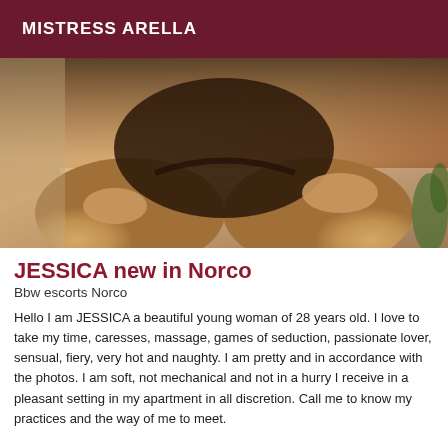MISTRESS ARELLA
[Figure (photo): Photo of a woman in dark lingerie kneeling, hands on legs, warm-toned skin, indoor setting with a plant visible at right edge.]
JESSICA new in Norco
Bbw escorts Norco
Hello I am JESSICA a beautiful young woman of 28 years old. I love to take my time, caresses, massage, games of seduction, passionate lover, sensual, fiery, very hot and naughty. I am pretty and in accordance with the photos. I am soft, not mechanical and not in a hurry I receive in a pleasant setting in my apartment in all discretion. Call me to know my practices and the way of me to meet.